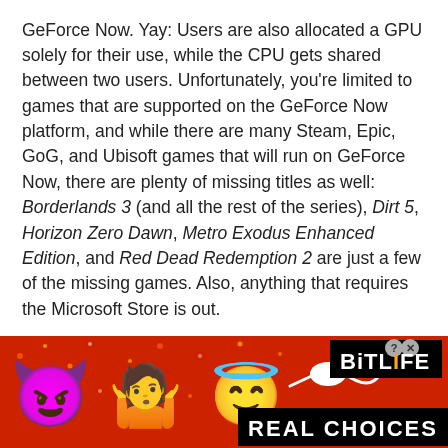GeForce Now. Yay: Users are also allocated a GPU solely for their use, while the CPU gets shared between two users. Unfortunately, you're limited to games that are supported on the GeForce Now platform, and while there are many Steam, Epic, GoG, and Ubisoft games that will run on GeForce Now, there are plenty of missing titles as well: Borderlands 3 (and all the rest of the series), Dirt 5, Horizon Zero Dawn, Metro Exodus Enhanced Edition, and Red Dead Redemption 2 are just a few of the missing games. Also, anything that requires the Microsoft Store is out.
But it's not just about the games and hardware. One of the biggest barriers to PC gaming right now is the lack of graphics cards. Unless you want to pay eBay
[Figure (infographic): BitLife advertisement banner with red confetti background, showing devil emoji, person shrugging emoji, angel emoji, sperm emoji with arrow, BitLife logo in black with orange LIFE text, and REAL CHOICES text in white on black bar.]